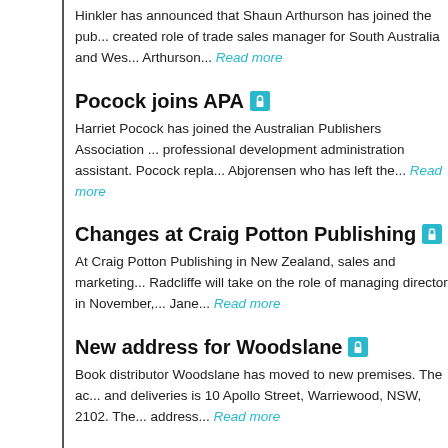Hinkler has announced that Shaun Arthurson has joined the pub... created role of trade sales manager for South Australia and Wes... Arthurson... Read more
Pocock joins APA
Harriet Pocock has joined the Australian Publishers Association ... professional development administration assistant. Pocock repla... Abjorensen who has left the... Read more
Changes at Craig Potton Publishing
At Craig Potton Publishing in New Zealand, sales and marketing... Radcliffe will take on the role of managing director in November,... Jane... Read more
New address for Woodslane
Book distributor Woodslane has moved to new premises. The ac... and deliveries is 10 Apollo Street, Warriewood, NSW, 2102. The... address... Read more
Stokes appointed chair of NLA Council